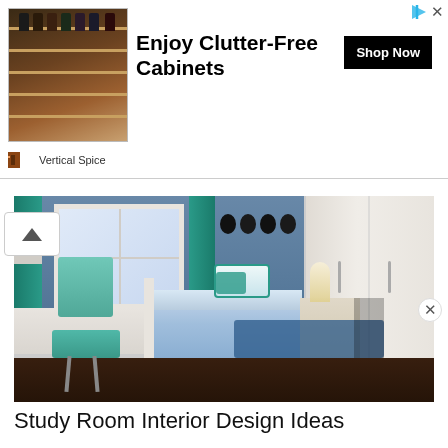[Figure (photo): Advertisement banner for Vertical Spice showing spice rack in cabinet with text 'Enjoy Clutter-Free Cabinets' and Shop Now button]
[Figure (photo): Interior photo of a study/bedroom with blue walls, teal curtains, a single bed with blue bedding, a desk and teal chair on the left, white wardrobe on the right, dark wood floor with blue rug]
Study Room Interior Design Ideas